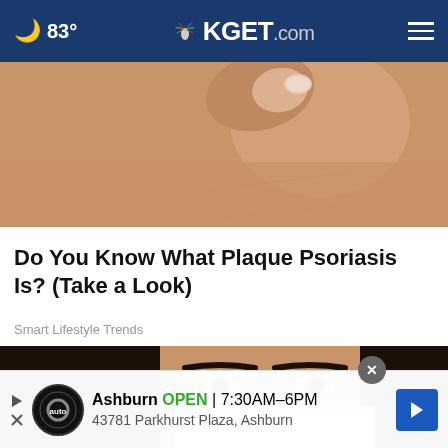🌙 83° | KGET.com
[Figure (photo): Close-up photo of a person's neck/ear area showing skin texture]
Do You Know What Plaque Psoriasis Is? (Take a Look)
Smart Lifestyle Trends
[Figure (photo): Close-up photo of a dark-haired woman holding a white tissue to her nose]
Ashburn OPEN | 7:30AM–6PM 43781 Parkhurst Plaza, Ashburn